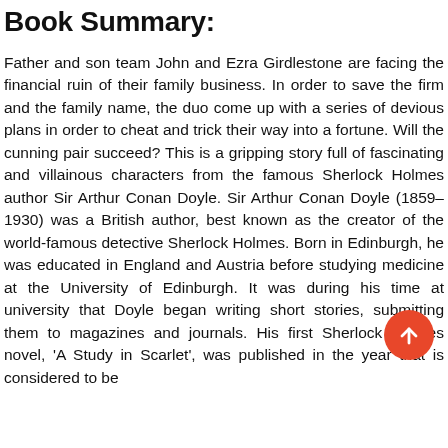Book Summary:
Father and son team John and Ezra Girdlestone are facing the financial ruin of their family business. In order to save the firm and the family name, the duo come up with a series of devious plans in order to cheat and trick their way into a fortune. Will the cunning pair succeed? This is a gripping story full of fascinating and villainous characters from the famous Sherlock Holmes author Sir Arthur Conan Doyle. Sir Arthur Conan Doyle (1859–1930) was a British author, best known as the creator of the world-famous detective Sherlock Holmes. Born in Edinburgh, he was educated in England and Austria before studying medicine at the University of Edinburgh. It was during his time at university that Doyle began writing short stories, submitting them to magazines and journals. His first Sherlock Holmes novel, 'A Study in
[Figure (illustration): Orange circular scroll-to-top button with upward arrow icon, overlaid on the text near bottom-right area of the page.]